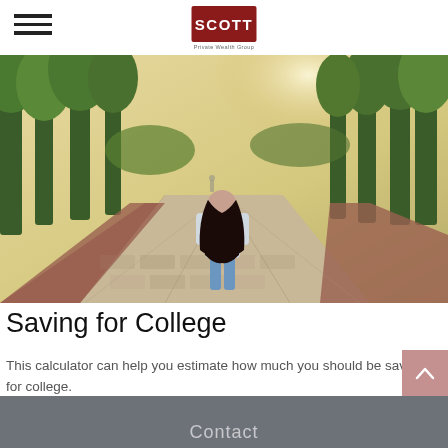[Figure (logo): Scott Private Wealth Group logo — red rounded rectangle with white text SCOTT and subtitle Private Wealth Group]
[Figure (photo): A female student with long dark hair carrying a teal/green backpack walks away from the camera down a tree-lined campus walkway with dappled sunlight]
Saving for College
This calculator can help you estimate how much you should be saving for college.
Contact